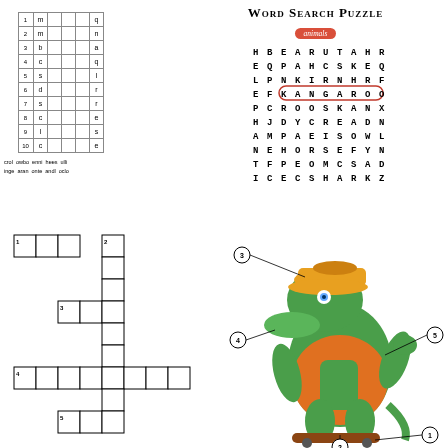[Figure (other): Crossword puzzle grid with 10 rows, numbered 1-10, with partial letter fills and word bank below]
[Figure (other): Word Search Puzzle with 'animals' badge, 11x9 letter grid with KANGAROO circled in red, checkmark, and animal illustrations around border]
[Figure (other): Crossword puzzle grid with 5 clue numbers (1-5) in a standard crossword layout]
[Figure (illustration): Cartoon crocodile/alligator character wearing cap and jacket on skateboard, with numbered labels 1-5 pointing to body parts]